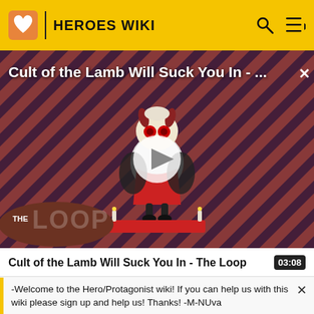HEROES WIKI
[Figure (screenshot): Video thumbnail for 'Cult of the Lamb Will Suck You In - The Loop' showing animated lamb character on diagonal striped background with play button overlay and THE LOOP badge]
Cult of the Lamb Will Suck You In - The Loop  03:08
[Figure (screenshot): Partial thumbnail strip showing purple/pink background]
-Welcome to the Hero/Protagonist wiki! If you can help us with this wiki please sign up and help us! Thanks! -M-NUva